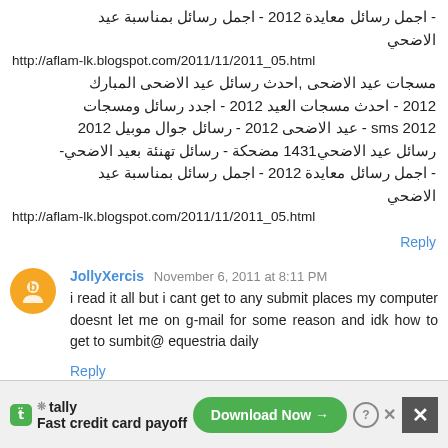- اجمل رسائل معايدة 2012 - اجمل رسائل بمناسبة عيد الاضحي http://aflam-lk.blogspot.com/2011/11/2011_05.html مسجات عيد الاضحى ,احدث رسائل عيد الاضحى المبارك 2012 - احدث مسجات العيد 2012 - اجدد رسائل ومسجات sms 2012 - عيد الاضحى 2012 - رسائل جوال موبيل 2012 رسائل عيد الاضحي1431 مضحكة - رسائل تهنئة بعيد الاضحي- - اجمل رسائل معايدة 2012 - اجمل رسائل بمناسبة عيد الاضحي http://aflam-lk.blogspot.com/2011/11/2011_05.html
Reply
JollyXercis November 6, 2011 at 8:11 PM
i read it all but i cant get to any submit places my computer doesnt let me on g-mail for some reason and idk how to get to sumbit@ equestria daily
Reply
Chlumpy November 7, 2011 at 9:18 AM
Fast credit card payoff - Download Now - tally